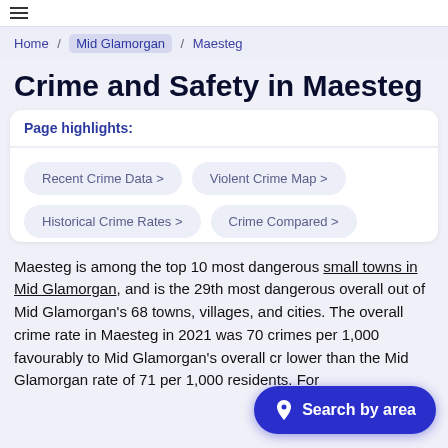Home / Mid Glamorgan / Maesteg
Crime and Safety in Maesteg
Page highlights:
Recent Crime Data >
Violent Crime Map >
Historical Crime Rates >
Crime Compared >
Maesteg is among the top 10 most dangerous small towns in Mid Glamorgan, and is the 29th most dangerous overall out of Mid Glamorgan's 68 towns, villages, and cities. The overall crime rate in Maesteg in 2021 was 70 crimes per 1,000 [residents, which compares] favourably to Mid Glamorgan's overall cr[ime rate, being] lower than the Mid Glamorgan rate of 71 per 1,000 residents. For